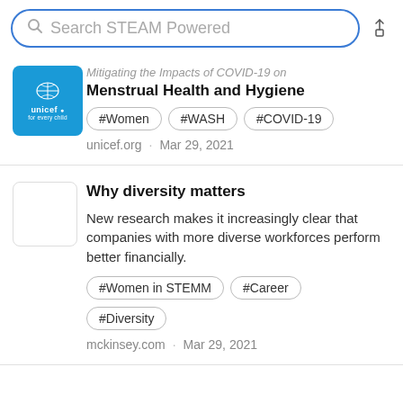Search STEAM Powered
Mitigating the Impacts of COVID-19 on
Menstrual Health and Hygiene
#Women
#WASH
#COVID-19
unicef.org · Mar 29, 2021
Why diversity matters
New research makes it increasingly clear that companies with more diverse workforces perform better financially.
#Women in STEMM
#Career
#Diversity
mckinsey.com · Mar 29, 2021